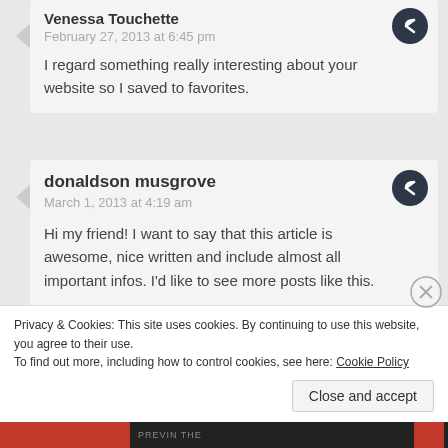Venessa Touchette
February 27, 2013 at 6:45 pm
I regard something really interesting about your website so I saved to favorites.
donaldson musgrove
March 1, 2013 at 4:19 am
Hi my friend! I want to say that this article is awesome, nice written and include almost all important infos. I'd like to see more posts like this.
Advertisements
Privacy & Cookies: This site uses cookies. By continuing to use this website, you agree to their use.
To find out more, including how to control cookies, see here: Cookie Policy
Close and accept